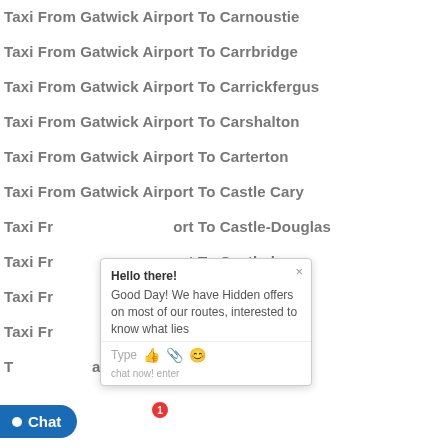Taxi From Gatwick Airport To Carnoustie
Taxi From Gatwick Airport To Carrbridge
Taxi From Gatwick Airport To Carrickfergus
Taxi From Gatwick Airport To Carshalton
Taxi From Gatwick Airport To Carterton
Taxi From Gatwick Airport To Castle Cary
Taxi From Gatwick Airport To Castle-Douglas
Taxi From Gatwick Airport To Castlederg
Taxi From Gatwick Airport To Castleford
Taxi From Gatwick Airport To Castlewellan
Taxi From Gatwick Airport To Caterham